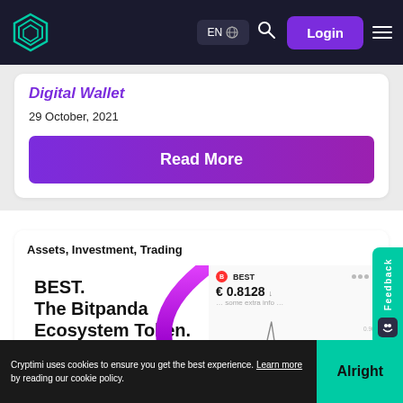EN  Login
Digital Wallet
29 October, 2021
Read More
Assets, Investment, Trading
[Figure (screenshot): BEST. The Bitpanda Ecosystem Token. promotional image with price chart showing € 0.8128]
Cryptimi uses cookies to ensure you get the best experience. Learn more by reading our cookie policy. Alright